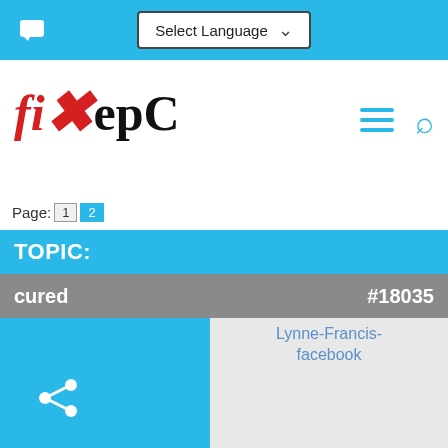Select Language
[Figure (logo): fixHepC logo with red X]
Page: 1  2
TOPIC:
cured  #18035
[Figure (photo): Profile photo of Lynne-Francis-facebook, grayscale portrait of a woman, shown in circular frame]
Lynne-Francis-facebook
Offline
Elite Member
Posts: 202
Thank you received: 379